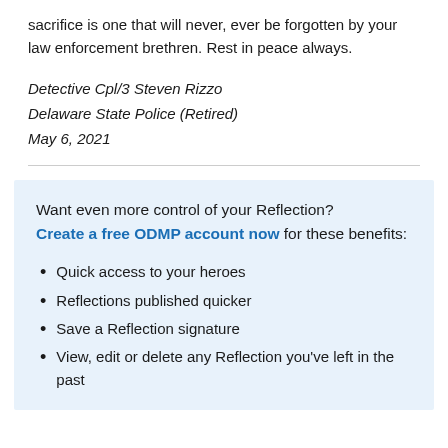sacrifice is one that will never, ever be forgotten by your law enforcement brethren. Rest in peace always.
Detective Cpl/3 Steven Rizzo
Delaware State Police (Retired)
May 6, 2021
Want even more control of your Reflection? Create a free ODMP account now for these benefits:
Quick access to your heroes
Reflections published quicker
Save a Reflection signature
View, edit or delete any Reflection you've left in the past